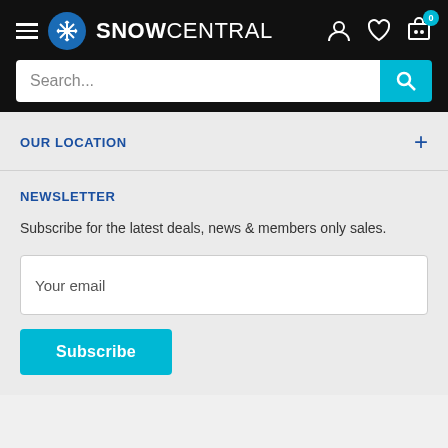SNOW CENTRAL - Navigation header with hamburger menu, logo, search bar, user icon, wishlist icon, and cart icon with badge 0
OUR LOCATION
NEWSLETTER
Subscribe for the latest deals, news & members only sales.
Your email
Subscribe